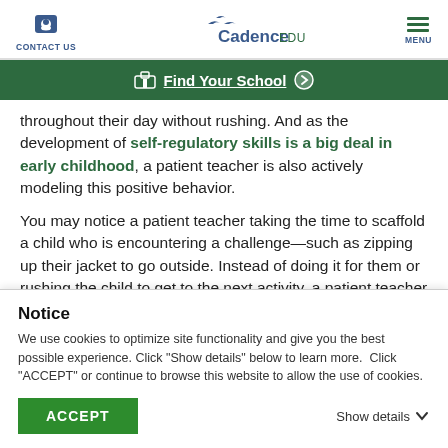CONTACT US | Cadence EDUCATION | MENU
Find Your School
throughout their day without rushing. And as the development of self-regulatory skills is a big deal in early childhood, a patient teacher is also actively modeling this positive behavior.

You may notice a patient teacher taking the time to scaffold a child who is encountering a challenge—such as zipping up their jacket to go outside. Instead of doing it for them or rushing the child to get to the next activity, a patient teacher will understand that this is a teachable
Notice
We use cookies to optimize site functionality and give you the best possible experience. Click "Show details" below to learn more.  Click "ACCEPT" or continue to browse this website to allow the use of cookies.